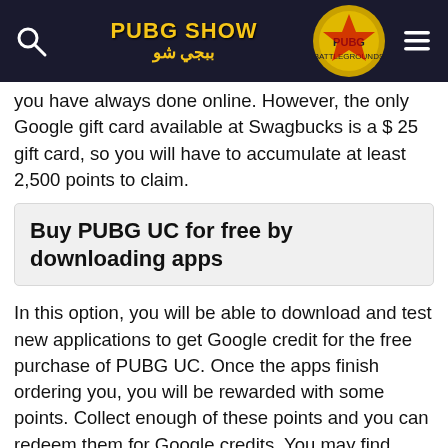PUBG SHOW / ببجي شو
activities for you to complete every day and get coins like taking photos, playing games and watching videos. You can earn money by doing what you have always done online. However, the only Google gift card available at Swagbucks is a $ 25 gift card, so you will have to accumulate at least 2,500 points to claim.
Buy PUBG UC for free by downloading apps
In this option, you will be able to download and test new applications to get Google credit for the free purchase of PUBG UC. Once the apps finish ordering you, you will be rewarded with some points. Collect enough of these points and you can redeem them for Google credits. You may find some new favorite apps while doing this.